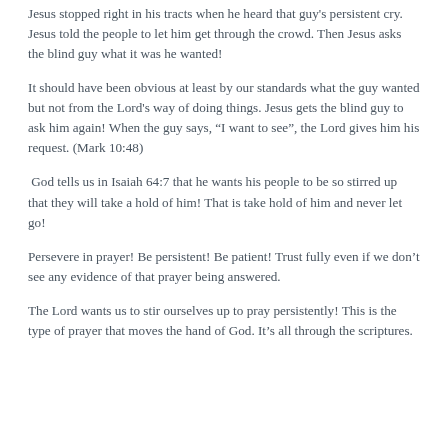Jesus stopped right in his tracts when he heard that guy's persistent cry. Jesus told the people to let him get through the crowd. Then Jesus asks the blind guy what it was he wanted!
It should have been obvious at least by our standards what the guy wanted but not from the Lord's way of doing things. Jesus gets the blind guy to ask him again! When the guy says, “I want to see”, the Lord gives him his request. (Mark 10:48)
God tells us in Isaiah 64:7 that he wants his people to be so stirred up that they will take a hold of him! That is take hold of him and never let go!
Persevere in prayer! Be persistent! Be patient! Trust fully even if we don’t see any evidence of that prayer being answered.
The Lord wants us to stir ourselves up to pray persistently! This is the type of prayer that moves the hand of God. It’s all through the scriptures.